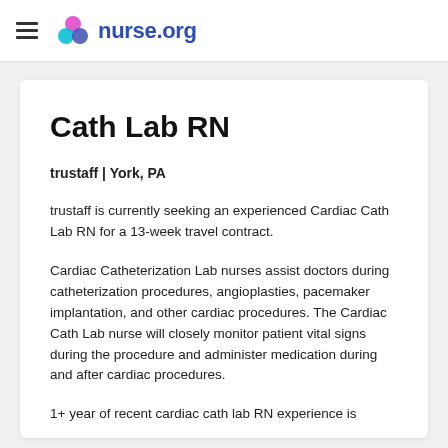nurse.org
Cath Lab RN
trustaff | York, PA
trustaff is currently seeking an experienced Cardiac Cath Lab RN for a 13-week travel contract.
Cardiac Catheterization Lab nurses assist doctors during catheterization procedures, angioplasties, pacemaker implantation, and other cardiac procedures. The Cardiac Cath Lab nurse will closely monitor patient vital signs during the procedure and administer medication during and after cardiac procedures.
1+ year of recent cardiac cath lab RN experience is